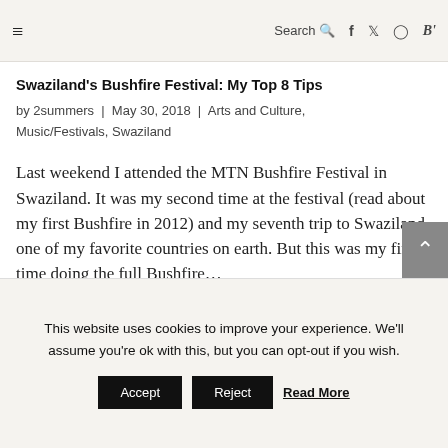≡  Search  f  Twitter  Instagram  B'
Swaziland's Bushfire Festival: My Top 8 Tips
by 2summers | May 30, 2018 | Arts and Culture, Music/Festivals, Swaziland
Last weekend I attended the MTN Bushfire Festival in Swaziland. It was my second time at the festival (read about my first Bushfire in 2012) and my seventh trip to Swaziland, one of my favorite countries on earth. But this was my first time doing the full Bushfire...
This website uses cookies to improve your experience. We'll assume you're ok with this, but you can opt-out if you wish.  Accept  Reject  Read More